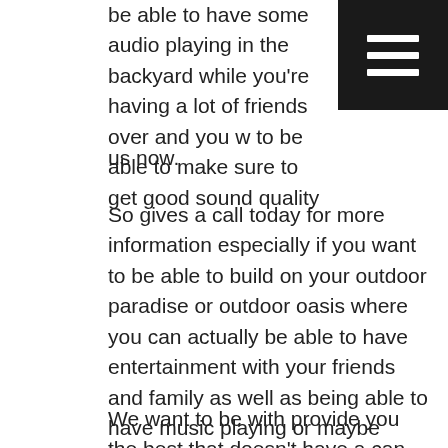be able to have some audio playing in the backyard while you're having a lot of friends over and you w to be able to make sure to get good sound quality us now.
[Figure (other): Hamburger menu button icon — three white horizontal lines on a dark/black square background, top-right corner]
So gives a call today for more information especially if you want to be able to build on your outdoor paradise or outdoor oasis where you can actually be able to have entertainment with your friends and family as well as being able to have music playing or maybe even have audio to play while you're actually watching the football game outside with your friends and your family peers' one able to have an outdoor barbecue law being able to be able to grill out as all stock that have some music playing in the background or maybe have to even when it gets dark outside calls for more details.
We want to be with provide you the best that doesn't have a can do that here Living Water Audio & Lighting's